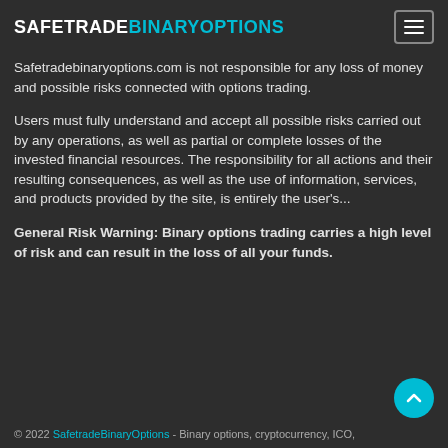SAFETRADEBINARYOPTIONS
Safetradebinaryoptions.com is not responsible for any loss of money and possible risks connected with options trading.
Users must fully understand and accept all possible risks carried out by any operations, as well as partial or complete losses of the invested financial resources. The responsibility for all actions and their resulting consequences, as well as the use of information, services, and products provided by the site, is entirely the user's...
General Risk Warning: Binary options trading carries a high level of risk and can result in the loss of all your funds.
© 2022 SafetradeBinaryOptions - Binary options, cryptocurrency, ICO,